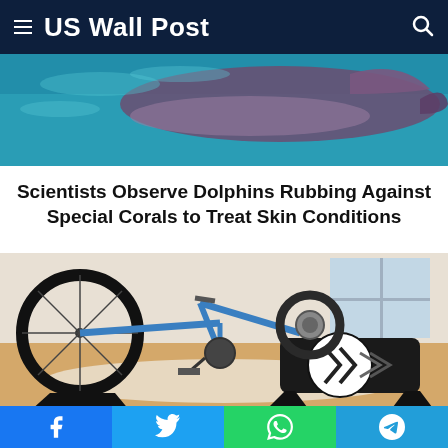US Wall Post
[Figure (photo): Dolphin swimming underwater with teal/blue background, purple fins visible]
Scientists Observe Dolphins Rubbing Against Special Corals to Treat Skin Conditions
[Figure (photo): Indoor bike trainer (Kicker brand) with a blue bicycle mounted on it, on wooden floor]
The Best Indoor Bike Trainers for 2022